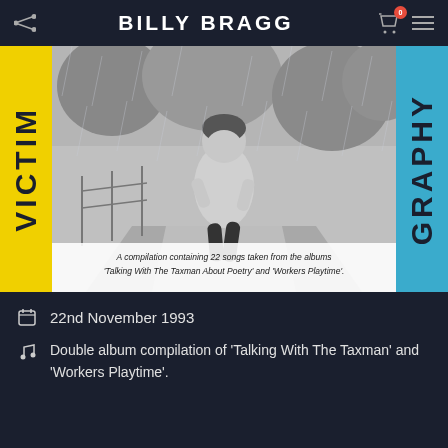BILLY BRAGG
[Figure (photo): Album cover for 'Victimography' by Billy Bragg. A black and white photo of a man running on a path in the rain, with yellow left sidebar showing 'VICTIM' vertically and blue right sidebar showing 'GRAPHY' vertically. Caption text reads: A compilation containing 22 songs taken from the albums 'Talking With The Taxman About Poetry' and 'Workers Playtime'.]
22nd November 1993
Double album compilation of 'Talking With The Taxman' and 'Workers Playtime'.